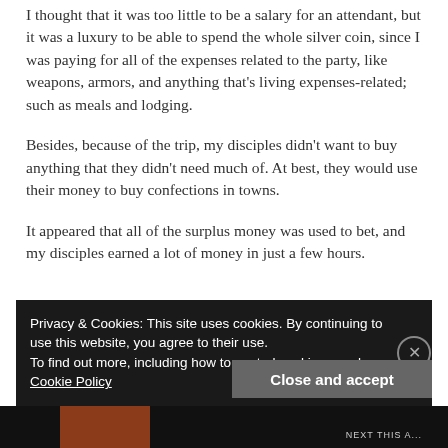I thought that it was too little to be a salary for an attendant, but it was a luxury to be able to spend the whole silver coin, since I was paying for all of the expenses related to the party, like weapons, armors, and anything that's living expenses-related; such as meals and lodging.
Besides, because of the trip, my disciples didn't want to buy anything that they didn't need much of. At best, they would use their money to buy confections in towns.
It appeared that all of the surplus money was used to bet, and my disciples earned a lot of money in just a few hours.
Privacy & Cookies: This site uses cookies. By continuing to use this website, you agree to their use.
To find out more, including how to control cookies, see here: Cookie Policy
Close and accept